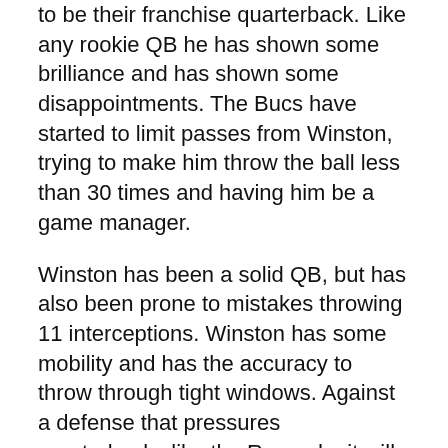to be their franchise quarterback. Like any rookie QB he has shown some brilliance and has shown some disappointments. The Bucs have started to limit passes from Winston, trying to make him throw the ball less than 30 times and having him be a game manager.
Winston has been a solid QB, but has also been prone to mistakes throwing 11 interceptions. Winston has some mobility and has the accuracy to throw through tight windows. Against a defense that pressures quarterbacks like the Rams do, it will be an intriguing test for a rookie that is not afraid to throw the ball up to his playmakers.
RB Doug Martin
After two terrible seasons, Martin has rebounded with a great season, rushing for 1,214 yards and five touchdowns. The Rams ranked Martin 11th...